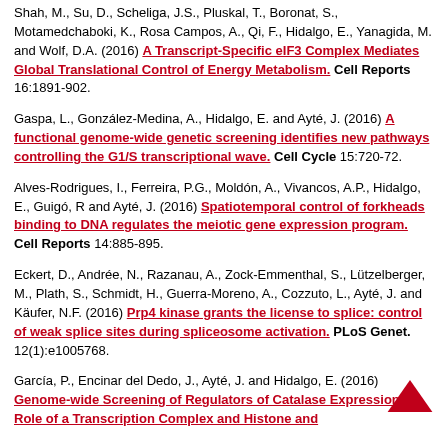Shah, M., Su, D., Scheliga, J.S., Pluskal, T., Boronat, S., Motamedchaboki, K., Rosa Campos, A., Qi, F., Hidalgo, E., Yanagida, M. and Wolf, D.A. (2016) A Transcript-Specific eIF3 Complex Mediates Global Translational Control of Energy Metabolism. Cell Reports 16:1891-902.
Gaspa, L., González-Medina, A., Hidalgo, E. and Ayté, J. (2016) A functional genome-wide genetic screening identifies new pathways controlling the G1/S transcriptional wave. Cell Cycle 15:720-72.
Alves-Rodrigues, I., Ferreira, P.G., Moldón, A., Vivancos, A.P., Hidalgo, E., Guigó, R and Ayté, J. (2016) Spatiotemporal control of forkheads binding to DNA regulates the meiotic gene expression program. Cell Reports 14:885-895.
Eckert, D., Andrée, N., Razanau, A., Zock-Emmenthal, S., Lützelberger, M., Plath, S., Schmidt, H., Guerra-Moreno, A., Cozzuto, L., Ayté, J. and Käufer, N.F. (2016) Prp4 kinase grants the license to splice: control of weak splice sites during spliceosome activation. PLoS Genet. 12(1):e1005768.
García, P., Encinar del Dedo, J., Ayté, J. and Hidalgo, E. (2016) Genome-wide Screening of Regulators of Catalase Expression: Role of a Transcription Complex and Histone and